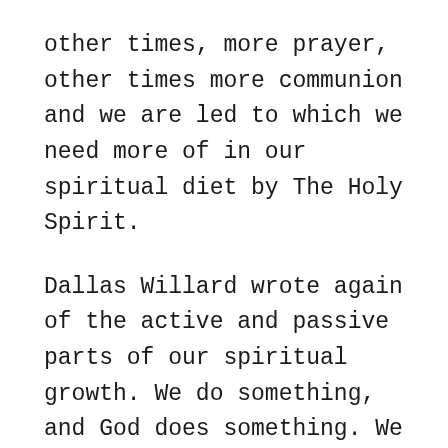other times, more prayer, other times more communion and we are led to which we need more of in our spiritual diet by The Holy Spirit.
Dallas Willard wrote again of the active and passive parts of our spiritual growth. We do something, and God does something. We play our part in keeping our hearts, putting on and off His Mind etc; and God does the real formation work. He wrote that the church in some parts had been paralyzed by Grace, and forgot to grow up into maturity. Richard Foster